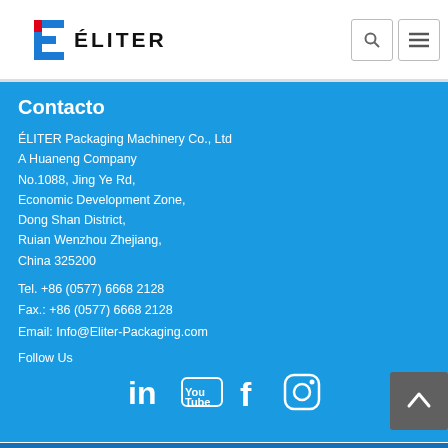ÉLITER
Contacto
ÉLITER Packaging Machinery Co., Ltd
A Huaneng Company
No.1088, Jing Ye Rd,
Economic Development Zone,
Dong Shan District,
Ruian Wenzhou Zhejiang,
China 325200
Tel. +86 (0577) 6668 2128
Fax.: +86 (0577) 6668 2128
Email: Info@Eliter-Packaging.com
Follow Us
[Figure (infographic): Social media icons: LinkedIn, YouTube, Facebook, Instagram]